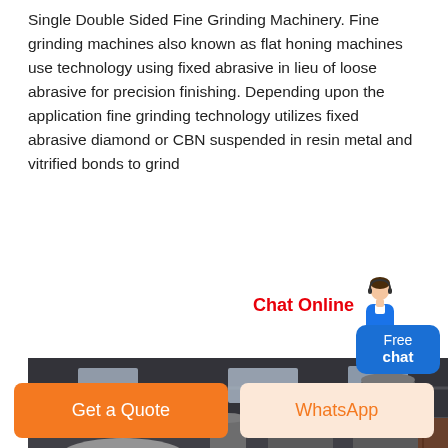Single Double Sided Fine Grinding Machinery. Fine grinding machines also known as flat honing machines use technology using fixed abrasive in lieu of loose abrasive for precision finishing. Depending upon the application fine grinding technology utilizes fixed abrasive diamond or CBN suspended in resin metal and vitrified bonds to grind
[Figure (photo): Industrial grinding/dust collection machinery inside a large warehouse facility, showing several large metal cyclone dust collectors and silos on metal support frames.]
Chat Online
Free chat
Get a Quote
WhatsApp